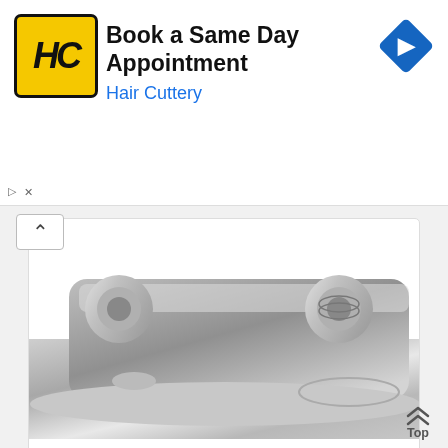[Figure (screenshot): Hair Cuttery advertisement banner with yellow/black HC logo, text 'Book a Same Day Appointment' and 'Hair Cuttery', blue diamond arrow icon on right]
[Figure (photo): Close-up photo of a satin nickel bathroom faucet base and handles]
Plumb USA – 4" Lavatory Faucet, Satin Nickel Finish ...
[Figure (photo): Partial photo of a second satin nickel bathroom faucet]